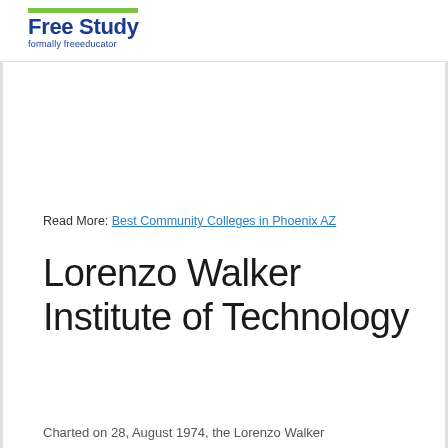Free Study — formally freeeducator
Read More: Best Community Colleges in Phoenix AZ
Lorenzo Walker Institute of Technology
Charted on 28, August 1974, the Lorenzo Walker